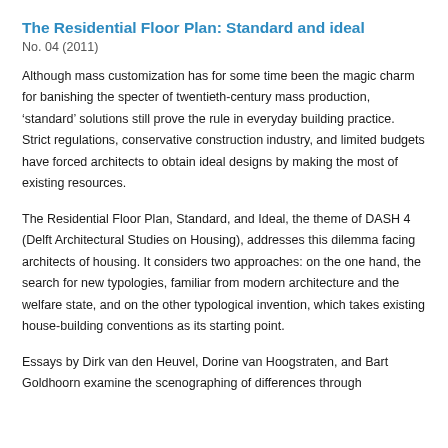The Residential Floor Plan: Standard and ideal
No. 04 (2011)
Although mass customization has for some time been the magic charm for banishing the specter of twentieth-century mass production, ‘standard’ solutions still prove the rule in everyday building practice. Strict regulations, conservative construction industry, and limited budgets have forced architects to obtain ideal designs by making the most of existing resources.
The Residential Floor Plan, Standard, and Ideal, the theme of DASH 4 (Delft Architectural Studies on Housing), addresses this dilemma facing architects of housing. It considers two approaches: on the one hand, the search for new typologies, familiar from modern architecture and the welfare state, and on the other typological invention, which takes existing house-building conventions as its starting point.
Essays by Dirk van den Heuvel, Dorine van Hoogstraten, and Bart Goldhoorn examine the scenographing of differences through